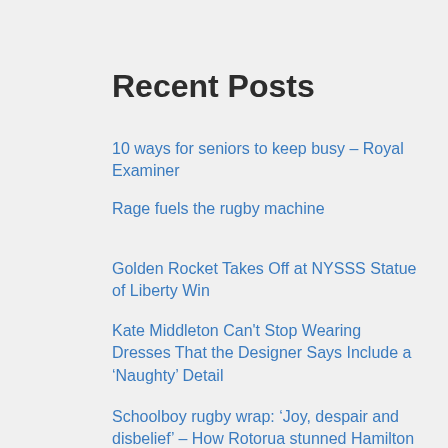Recent Posts
10 ways for seniors to keep busy – Royal Examiner
Rage fuels the rugby machine
Golden Rocket Takes Off at NYSSS Statue of Liberty Win
Kate Middleton Can't Stop Wearing Dresses That the Designer Says Include a ‘Naughty’ Detail
Schoolboy rugby wrap: ‘Joy, despair and disbelief’ – How Rotorua stunned Hamilton
Recent Comments
No comments to show.